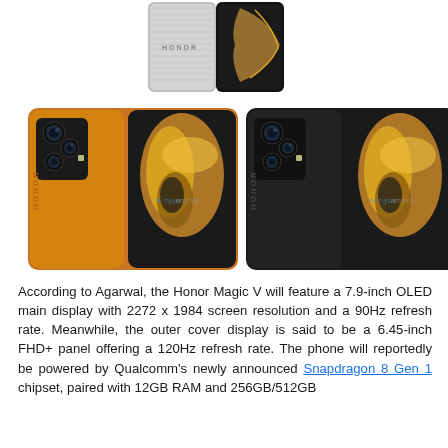[Figure (photo): Product photos of the Honor Magic V foldable smartphone shown in three color variants: silver/black (top, partially visible), orange/gold (bottom left), and black/gold (bottom right). Each shows the phone in open position displaying a golden artistic design on the inner screen, with a triple camera module on the back cover. Watermark 'mysmartprice' visible on images.]
According to Agarwal, the Honor Magic V will feature a 7.9-inch OLED main display with 2272 x 1984 screen resolution and a 90Hz refresh rate. Meanwhile, the outer cover display is said to be a 6.45-inch FHD+ panel offering a 120Hz refresh rate. The phone will reportedly be powered by Qualcomm's newly announced Snapdragon 8 Gen 1 chipset, paired with 12GB RAM and 256GB/512GB